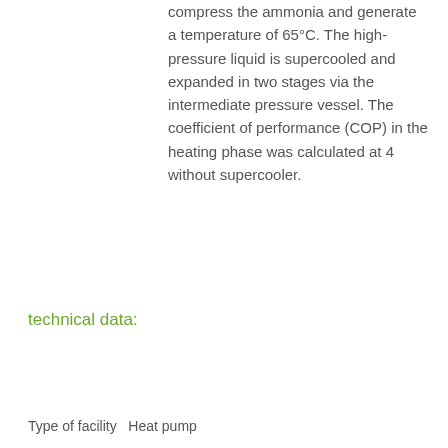compress the ammonia and generate a temperature of 65°C. The high-pressure liquid is supercooled and expanded in two stages via the intermediate pressure vessel. The coefficient of performance (COP) in the heating phase was calculated at 4 without supercooler.
technical data:
Type of facility   Heat pump